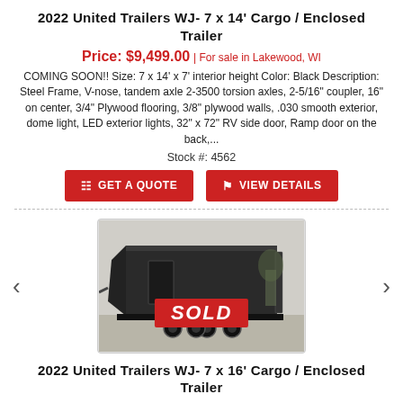2022 United Trailers WJ- 7 x 14' Cargo / Enclosed Trailer
Price: $9,499.00 | For sale in Lakewood, WI
COMING SOON!! Size: 7 x 14' x 7' interior height Color: Black Description: Steel Frame, V-nose, tandem axle 2-3500 torsion axles, 2-5/16" coupler, 16" on center, 3/4" Plywood flooring, 3/8" plywood walls, .030 smooth exterior, dome light, LED exterior lights, 32" x 72" RV side door, Ramp door on the back,...
Stock #: 4562
[Figure (other): Two red call-to-action buttons: GET A QUOTE and VIEW DETAILS]
[Figure (photo): Photo of a black enclosed cargo trailer with a red SOLD overlay text stamp]
2022 United Trailers WJ- 7 x 16' Cargo / Enclosed Trailer